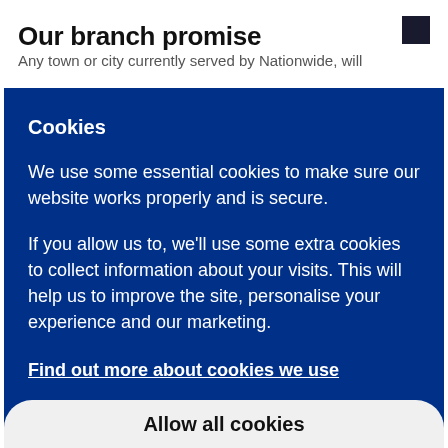Our branch promise
Any town or city currently served by Nationwide, will
Cookies
We use some essential cookies to make sure our website works properly and is secure.
If you allow us to, we'll use some extra cookies to collect information about your visits. This will help us to improve the site, personalise your experience and our marketing.
Find out more about cookies we use
Allow all cookies